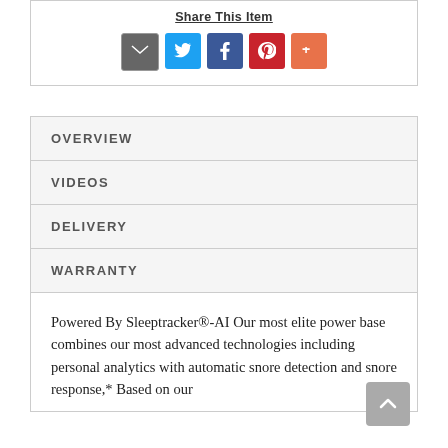Share This Item
[Figure (infographic): Social sharing icons: email (grey), Twitter (blue), Facebook (dark blue), Pinterest (red), More (orange-red)]
OVERVIEW
VIDEOS
DELIVERY
WARRANTY
Powered By Sleeptracker®-AI Our most elite power base combines our most advanced technologies including personal analytics with automatic snore detection and snore response,* Based on our